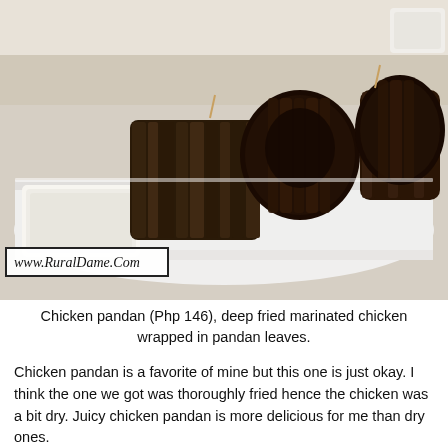[Figure (photo): Photo of chicken pandan on a white rectangular plate — several pieces of deep fried marinated chicken wrapped in dark pandan leaves, with a small white dipping sauce bowl on the side. A watermark reading 'www.RuralDame.Com' appears in the lower left of the photo.]
Chicken pandan (Php 146), deep fried marinated chicken wrapped in pandan leaves.
Chicken pandan is a favorite of mine but this one is just okay. I think the one we got was thoroughly fried hence the chicken was a bit dry. Juicy chicken pandan is more delicious for me than dry ones.